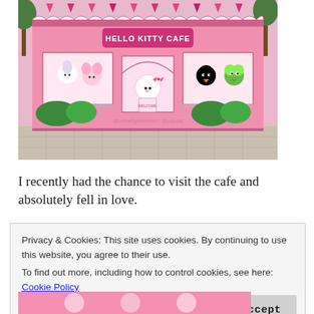[Figure (photo): Photograph of a Hello Kitty Cafe pop-up shop painted pink, shaped like a shipping container, with Hello Kitty characters illustrated on the exterior windows and a 'Hello Kitty Cafe' banner sign above the door.]
I recently had the chance to visit the cafe and absolutely fell in love.
Privacy & Cookies: This site uses cookies. By continuing to use this website, you agree to their use.
To find out more, including how to control cookies, see here: Cookie Policy
[Figure (photo): Partial bottom strip of another photo showing pink Hello Kitty themed items.]